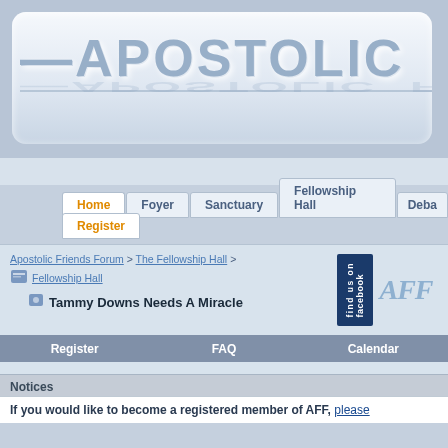[Figure (screenshot): Apostolic Friends Forum website header banner with large stylized text reading 'Apostolic Frie...' on a blue-grey gradient background with rounded white inner box]
Home | Foyer | Sanctuary | Fellowship Hall | Deba... | Register
Apostolic Friends Forum > The Fellowship Hall > Fellowship Hall
Tammy Downs Needs A Miracle
Register   FAQ   Calendar
Notices
If you would like to become a registered member of AFF, please...